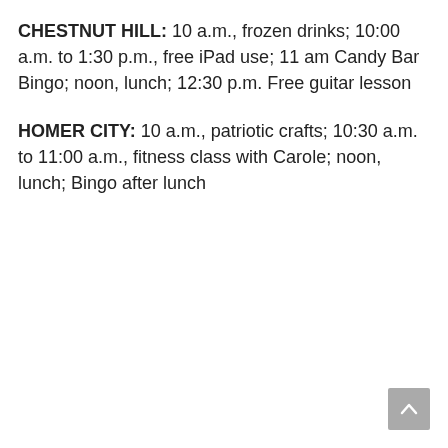CHESTNUT HILL: 10 a.m., frozen drinks; 10:00 a.m. to 1:30 p.m., free iPad use; 11 am Candy Bar Bingo; noon, lunch; 12:30 p.m. Free guitar lesson
HOMER CITY: 10 a.m., patriotic crafts; 10:30 a.m. to 11:00 a.m., fitness class with Carole; noon, lunch; Bingo after lunch